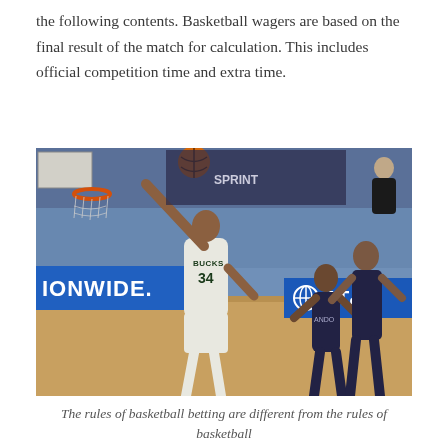the following contents. Basketball wagers are based on the final result of the match for calculation. This includes official competition time and extra time.
[Figure (photo): A Milwaukee Bucks player wearing jersey number 34 reaches up toward the basketball hoop during an NBA game. Players from the opposing team, wearing dark jerseys with 'ANDO' visible, are nearby. Court-side advertising boards show 'NATIONWIDE.' and 'AT&T' logos in blue. The scene is an indoor NBA bubble arena setting.]
The rules of basketball betting are different from the rules of basketball